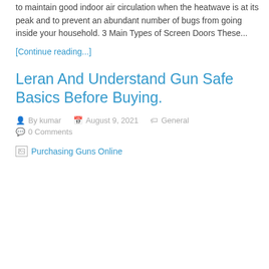to maintain good indoor air circulation when the heatwave is at its peak and to prevent an abundant number of bugs from going inside your household. 3 Main Types of Screen Doors These...
[Continue reading...]
Leran And Understand Gun Safe Basics Before Buying.
By kumar   August 9, 2021   General   0 Comments
[Figure (photo): Broken image placeholder labeled 'Purchasing Guns Online']